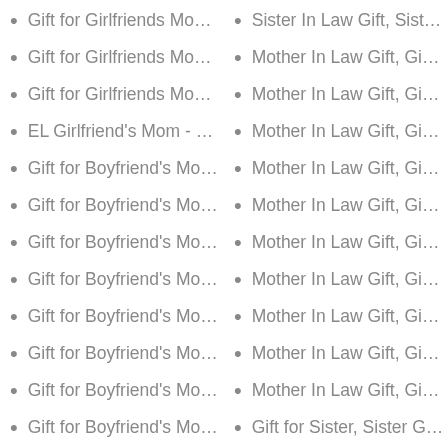Gift for Girlfriends Mo…
Sister In Law Gift, Sist…
Gift for Girlfriends Mo…
Mother In Law Gift, Gi…
Gift for Girlfriends Mo…
Mother In Law Gift, Gi…
EL Girlfriend's Mom - …
Mother In Law Gift, Gi…
Gift for Boyfriend's Mo…
Mother In Law Gift, Gi…
Gift for Boyfriend's Mo…
Mother In Law Gift, Gi…
Gift for Boyfriend's Mo…
Mother In Law Gift, Gi…
Gift for Boyfriend's Mo…
Mother In Law Gift, Gi…
Gift for Boyfriend's Mo…
Mother In Law Gift, Gi…
Gift for Boyfriend's Mo…
Mother In Law Gift, Gi…
Gift for Boyfriend's Mo…
Mother In Law Gift, Gi…
Gift for Boyfriend's Mo…
Gift for Sister, Sister G…